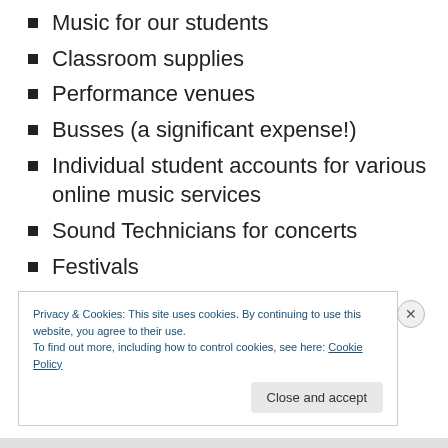Music for our students
Classroom supplies
Performance venues
Busses (a significant expense!)
Individual student accounts for various online music services
Sound Technicians for concerts
Festivals
Programs
Privacy & Cookies: This site uses cookies. By continuing to use this website, you agree to their use. To find out more, including how to control cookies, see here: Cookie Policy